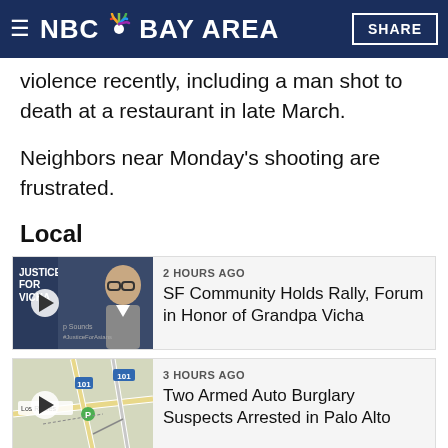NBC Bay Area
The area has seen an unusual amount of violence recently, including a man shot to death at a restaurant in late March.
Neighbors near Monday's shooting are frustrated.
Local
[Figure (photo): Video thumbnail showing 'Justice for Vicha' sign and older man with glasses]
2 HOURS AGO
SF Community Holds Rally, Forum in Honor of Grandpa Vicha
[Figure (map): Map thumbnail showing road intersection with route markers]
3 HOURS AGO
Two Armed Auto Burglary Suspects Arrested in Palo Alto
“Stop this stuff. It keeps happening more and more,” said neighbor Ahmad Martinez. “The violence is getting worse. Dot dot dot”